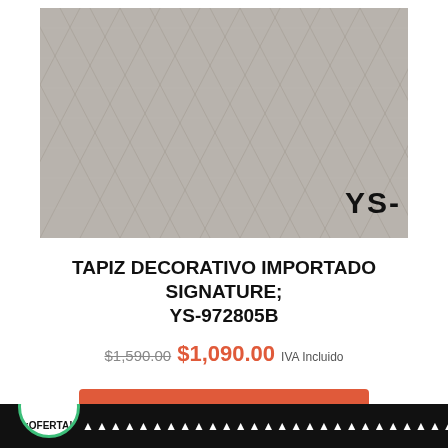[Figure (photo): Close-up photo of a grey herringbone/chevron pattern decorative fabric wallpaper with 'YS-' text watermark in the lower right corner]
TAPIZ DECORATIVO IMPORTADO SIGNATURE; YS-972805B
$1,590.00 $1,090.00 IVA Incluido
AÑADIR AL CARRITO
¡OFERTA!